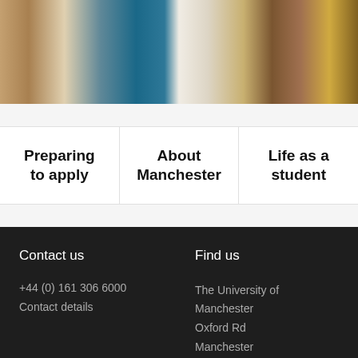[Figure (photo): Photo of a person in front of library bookshelves, wearing teal and white clothing]
Preparing to apply
About Manchester
Life as a student
Contact us
+44 (0) 161 306 6000
Contact details
Find us
The University of Manchester
Oxford Rd
Manchester
M13 9PL
UK